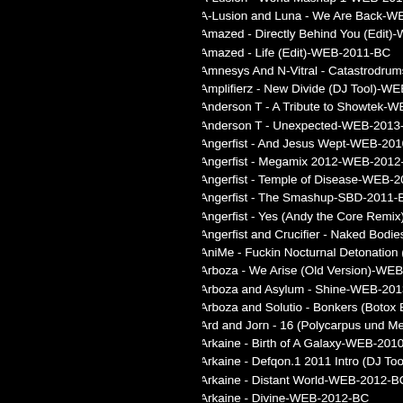A-Lusion - World Mashup 1-WEB-2011-BC
A-Lusion and Luna - We Are Back-WEB-2011-
Amazed - Directly Behind You (Edit)-WEB-20
Amazed - Life (Edit)-WEB-2011-BC
Amnesys And N-Vitral - Catastrodrums (Ones
Amplifierz - New Divide (DJ Tool)-WEB-2011-
Anderson T - A Tribute to Showtek-WEB-2012
Anderson T - Unexpected-WEB-2013-BC
Angerfist - And Jesus Wept-WEB-2010-BC
Angerfist - Megamix 2012-WEB-2012-BC
Angerfist - Temple of Disease-WEB-2013-BC
Angerfist - The Smashup-SBD-2011-BC
Angerfist - Yes (Andy the Core Remix)-WEB-2
Angerfist and Crucifier - Naked Bodies-WEB-
AniMe - Fuckin Nocturnal Detonation (Mash
Arboza - We Arise (Old Version)-WEB-2012-B
Arboza and Asylum - Shine-WEB-2013-BC
Arboza and Solutio - Bonkers (Botox Edit)-W
Ard and Jorn - 16 (Polycarpus und Medxion R
Arkaine - Birth of A Galaxy-WEB-2010-BC
Arkaine - Defqon.1 2011 Intro (DJ Tool)-WEB
Arkaine - Distant World-WEB-2012-BC
Arkaine - Divine-WEB-2012-BC
Arkaine - Kasakl-WEB-2011-BC
Arkaine - Voice of Desire (Adrenalize Remix)-
Armin Van Buuren - This Is What It Feels Li